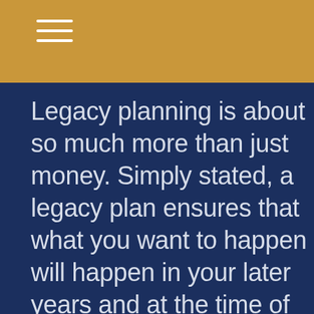Legacy planning is about so much more than just money. Simply stated, a legacy plan ensures that what you want to happen will happen in your later years and at the time of your passing. We are uniquely positioned to assist our Wealth Management clients in this